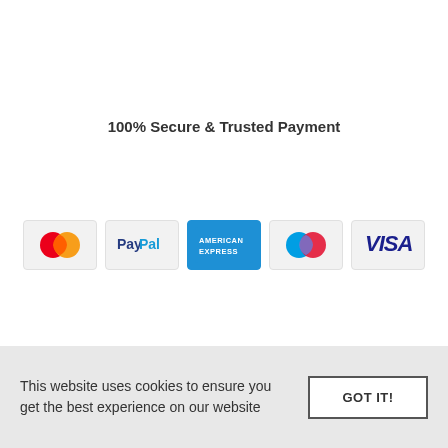100% Secure & Trusted Payment
[Figure (logo): Row of payment method logos: MasterCard, PayPal, American Express, Maestro, Visa]
Website created by Smarde.be E-commerce Agency
This website uses cookies to ensure you get the best experience on our website  GOT IT!